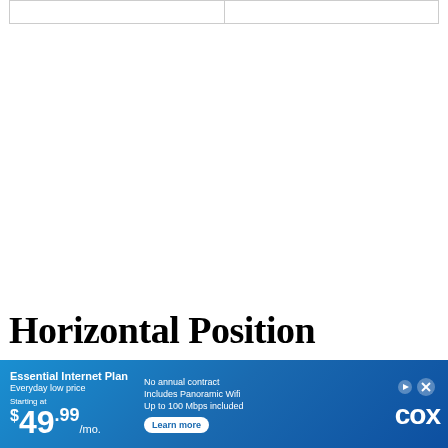|  |  |
| --- | --- |
|  |  |
Horizontal Position
[Figure (other): Small white rectangle box outline]
[Figure (other): Advertisement banner for Cox Essential Internet Plan: $49.99/mo, No annual contract, Includes Panoramic Wifi, Up to 100 Mbps included, Learn more button, Cox logo with play icon and close button]